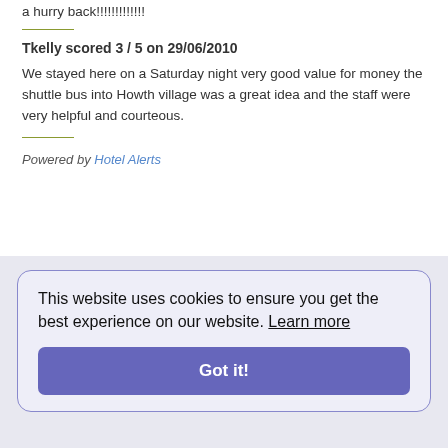a hurry back!!!!!!!!!!!!!
Tkelly scored 3 / 5 on 29/06/2010
We stayed here on a Saturday night very good value for money the shuttle bus into Howth village was a great idea and the staff were very helpful and courteous.
Powered by Hotel Alerts
This website uses cookies to ensure you get the best experience on our website. Learn more
Got it!